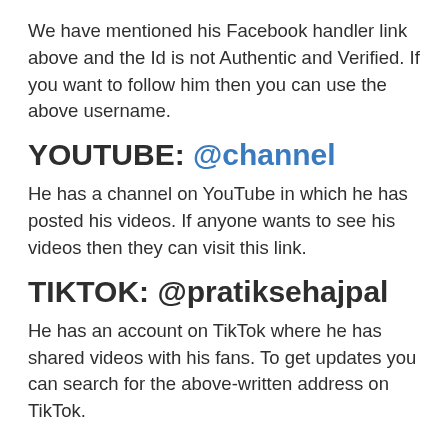We have mentioned his Facebook handler link above and the Id is not Authentic and Verified. If you want to follow him then you can use the above username.
YOUTUBE: @channel
He has a channel on YouTube in which he has posted his videos. If anyone wants to see his videos then they can visit this link.
TIKTOK: @pratiksehajpal
He has an account on TikTok where he has shared videos with his fans. To get updates you can search for the above-written address on TikTok.